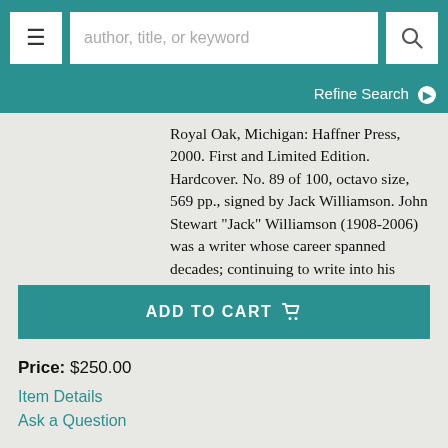author, title, or keyword
Refine Search
Royal Oak, Michigan: Haffner Press, 2000. First and Limited Edition. Hardcover. No. 89 of 100, octavo size, 569 pp., signed by Jack Williamson. John Stewart "Jack" Williamson (1908-2006) was a writer whose career spanned decades; continuing to write into his nineties, he won both the Hugo and Nebula Awards during.... More >
ADD TO CART
Price: $250.00
Item Details
Ask a Question